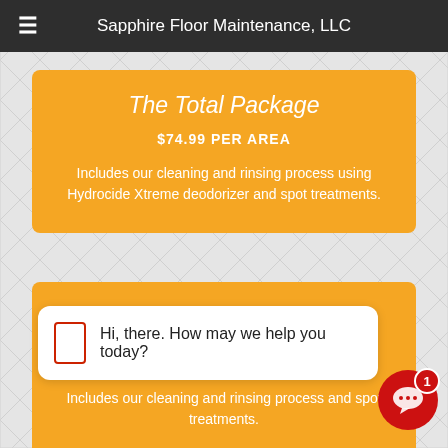Sapphire Floor Maintenance, LLC
The Total Package
$74.99 PER AREA
Includes our cleaning and rinsing process using Hydrocide Xtreme deodorizer and spot treatments.
$39.99 PER AREA
Includes our cleaning and rinsing process and spot treatments.
Hi, there. How may we help you today?